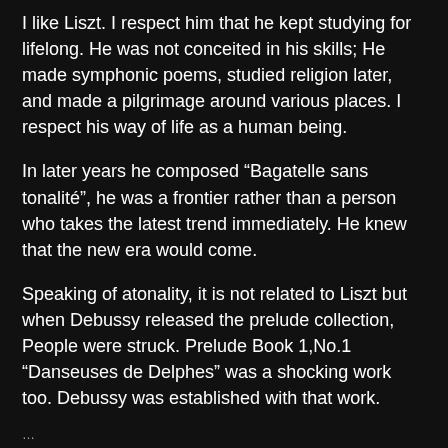I like Liszt. I respect him that he kept studying for lifelong. He was not conceited in his skills; He made symphonic poems, studied religion later, and made a pilgrimage around various places. I respect his way of life as a human being.
In later years he composed “Bagatelle sans tonalité”, he was a frontier rather than a person who takes the latest trend immediately. He knew that the new era would come.
Speaking of atonality, it is not related to Liszt but when Debussy released the prelude collection, People were struck. Prelude Book 1,No.1 “Danseuses de Delphes” was a shocking work too. Debussy was established with that work.
...